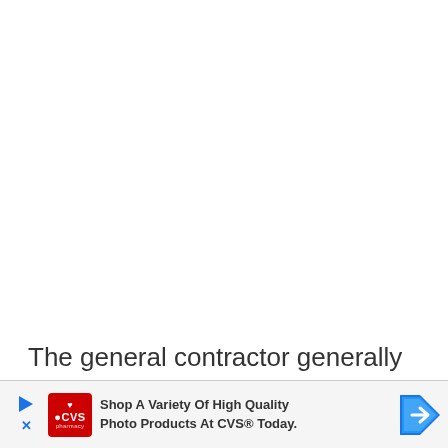The general contractor generally assumes responsibility for utility costs during cons
[Figure (other): Advertisement banner for CVS pharmacy photo products at the bottom of the page]